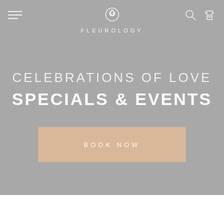FLEUROLOGY navigation bar with logo, hamburger menu, search icon, and cart icon (0 items)
CELEBRATIONS OF LOVE
SPECIALS & EVENTS
BOOK NOW